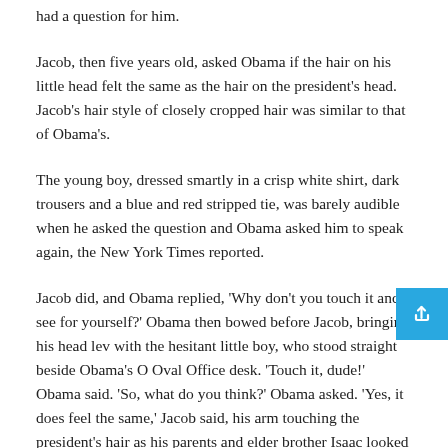had a question for him.
Jacob, then five years old, asked Obama if the hair on his little head felt the same as the hair on the president's head. Jacob's hair style of closely cropped hair was similar to that of Obama's.
The young boy, dressed smartly in a crisp white shirt, dark trousers and a blue and red stripped tie, was barely audible when he asked the question and Obama asked him to speak again, the New York Times reported.
Jacob did, and Obama replied, 'Why don't you touch it and see for yourself?' Obama then bowed before Jacob, bringing his head level with the hesitant little boy, who stood straight beside Obama's Oval Office desk. 'Touch it, dude!' Obama said. 'So, what do you think?' Obama asked. 'Yes, it does feel the same,' Jacob said, his arm touching the president's hair as his parents and elder brother Isaac looked on.